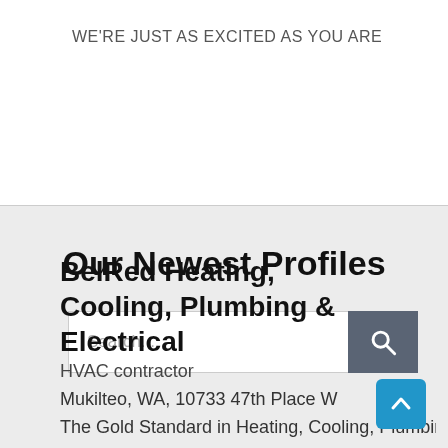WE'RE JUST AS EXCITED AS YOU ARE
Our Newest Profiles
[Figure (screenshot): Search bar with text input placeholder 'Search...' and a dark grey search button with magnifying glass icon]
BelRed Heating, Cooling, Plumbing & Electrical
HVAC contractor
Mukilteo, WA, 10733 47th Place W
The Gold Standard in Heating, Cooling, Plumbing